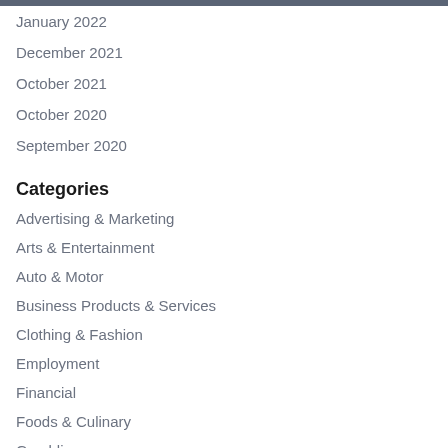January 2022
December 2021
October 2021
October 2020
September 2020
Categories
Advertising & Marketing
Arts & Entertainment
Auto & Motor
Business Products & Services
Clothing & Fashion
Employment
Financial
Foods & Culinary
Gambling
Health & Fitness
Health Care & Medical
Home Products & Services